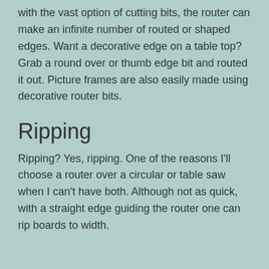with the vast option of cutting bits, the router can make an infinite number of routed or shaped edges. Want a decorative edge on a table top? Grab a round over or thumb edge bit and routed it out. Picture frames are also easily made using decorative router bits.
Ripping
Ripping? Yes, ripping. One of the reasons I'll choose a router over a circular or table saw when I can't have both. Although not as quick, with a straight edge guiding the router one can rip boards to width.